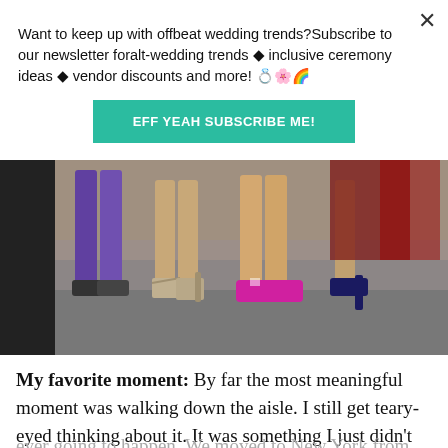Want to keep up with offbeat wedding trends?Subscribe to our newsletter for​alt-wedding trends • inclusive ceremony ideas • vendor discounts and more! 💍🌸🌈
EFF YEAH SUBSCRIBE ME!
[Figure (photo): Photo showing lower legs and feet of several people wearing different shoes: flat shoes, strappy heeled sandals, bright pink/magenta sneakers, and dark high heels, standing on a gray stone surface.]
My favorite moment: By far the most meaningful moment was walking down the aisle. I still get teary-eyed thinking about it. It was something I just didn't think was ever going to happen. We moved to New York from